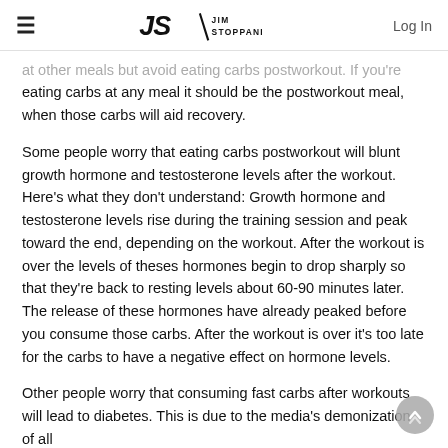JS / Jim Stoppani | Log In
at other meals but avoid eating carbs postworkout. If you're eating carbs at any meal it should be the postworkout meal, when those carbs will aid recovery.
Some people worry that eating carbs postworkout will blunt growth hormone and testosterone levels after the workout. Here's what they don't understand: Growth hormone and testosterone levels rise during the training session and peak toward the end, depending on the workout. After the workout is over the levels of theses hormones begin to drop sharply so that they're back to resting levels about 60-90 minutes later. The release of these hormones have already peaked before you consume those carbs. After the workout is over it's too late for the carbs to have a negative effect on hormone levels.
Other people worry that consuming fast carbs after workouts will lead to diabetes. This is due to the media's demonization of all